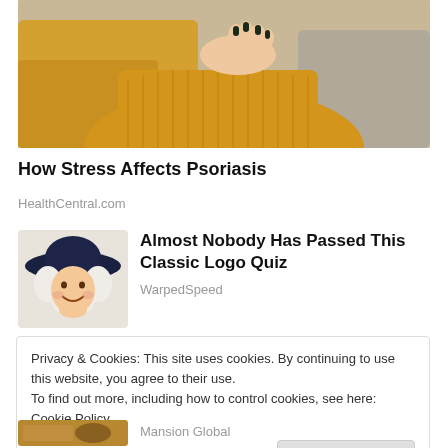[Figure (photo): Person in yellow/mustard knit sweater holding their arm, seated on a couch with yellow and grey pillows in background]
How Stress Affects Psoriasis
HealthCentral.com
[Figure (photo): Caricature-style illustration of a person with white curly hair wearing a dark wide-brimmed cowboy hat, smiling]
Almost Nobody Has Passed This Classic Logo Quiz
WarpedSpeed
Privacy & Cookies: This site uses cookies. By continuing to use this website, you agree to their use.
To find out more, including how to control cookies, see here: Cookie Policy
Close and accept
[Figure (photo): Partial thumbnail image at bottom of page]
Mansion Global